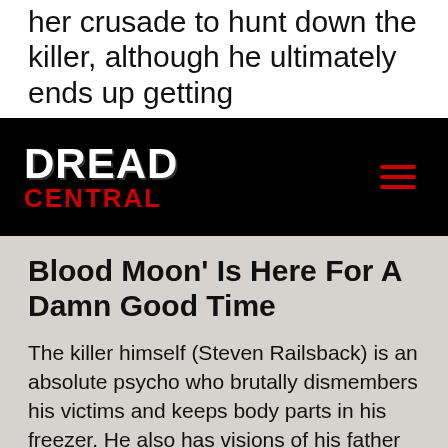her crusade to hunt down the killer, although he ultimately ends up getting
[Figure (logo): Dread Central logo — white DREAD text above red CENTRAL text on black background, with red hamburger menu icon on right]
Blood Moon' Is Here For A Damn Good Time
The killer himself (Steven Railsback) is an absolute psycho who brutally dismembers his victims and keeps body parts in his freezer. He also has visions of his father (played by The Walking Dead's Lew Temple in an entertaining cameo), who was sentenced to death for similarly horrific crimes, visiting him to explain